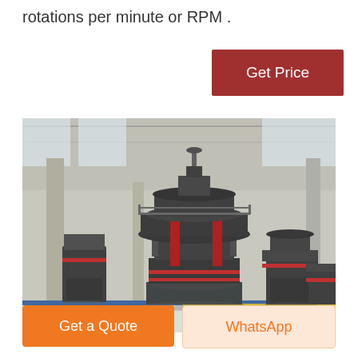rotations per minute or RPM .
[Figure (photo): Industrial milling/grinding machines in a large factory warehouse. Several large black and red vertical roller mill machines are displayed on a floor covered with white pellets/granules. The facility has a high ceiling with steel trusses.]
Get Price
Get a Quote
WhatsApp